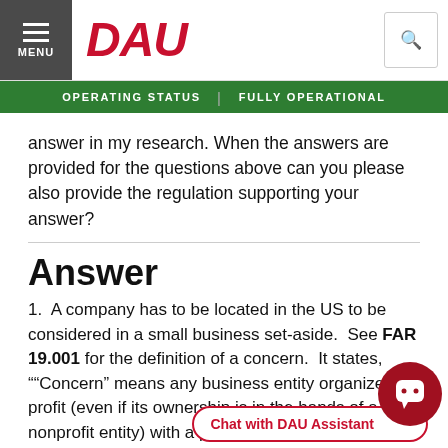MENU | DAU | [search icon]
OPERATING STATUS | FULLY OPERATIONAL
answer in my research. When the answers are provided for the questions above can you please also provide the regulation supporting your answer?
Answer
1.  A company has to be located in the US to be considered in a small business set-aside.  See FAR 19.001 for the definition of a concern.  It states, "“Concern” means any business entity organized for profit (even if its ownership is in the hands of a nonprofit entity) with a place of business located in the United States or its outlying areas and that makes a significant contribution to the economy through payment of taxes and/or use of